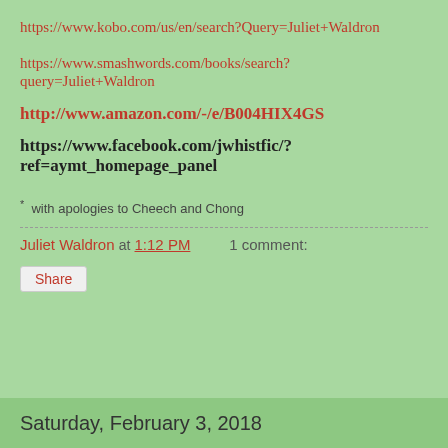https://www.kobo.com/us/en/search?Query=Juliet+Waldron
https://www.smashwords.com/books/search?query=Juliet+Waldron
http://www.amazon.com/-/e/B004HIX4GS
https://www.facebook.com/jwhistfic/?ref=aymt_homepage_panel
* with apologies to Cheech and Chong
Juliet Waldron at 1:12 PM    1 comment:
Share
Saturday, February 3, 2018